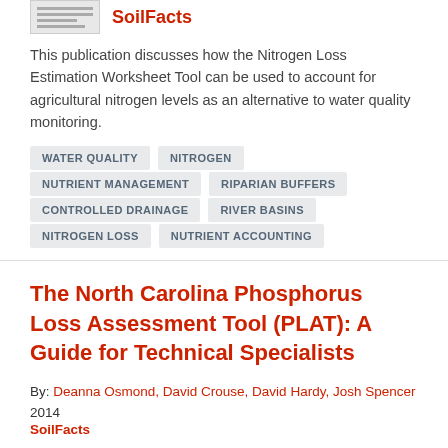[Figure (logo): Small logo image placeholder for SoilFacts publication]
SoilFacts
This publication discusses how the Nitrogen Loss Estimation Worksheet Tool can be used to account for agricultural nitrogen levels as an alternative to water quality monitoring.
WATER QUALITY
NITROGEN
NUTRIENT MANAGEMENT
RIPARIAN BUFFERS
CONTROLLED DRAINAGE
RIVER BASINS
NITROGEN LOSS
NUTRIENT ACCOUNTING
The North Carolina Phosphorus Loss Assessment Tool (PLAT): A Guide for Technical Specialists
By: Deanna Osmond, David Crouse, David Hardy, Josh Spencer
2014
SoilFacts
Phosphorus management is an important aspect of the